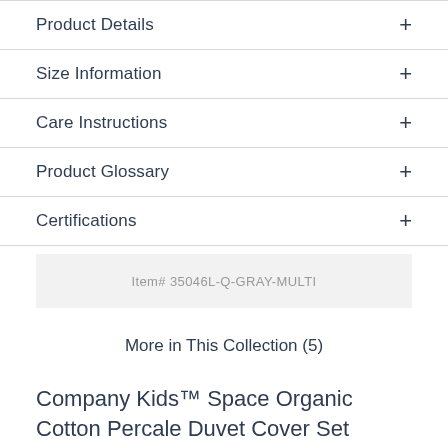Product Details
Size Information
Care Instructions
Product Glossary
Certifications
Item# 35046L-Q-GRAY-MULTI
More in This Collection (5)
Company Kids™ Space Organic Cotton Percale Duvet Cover Set